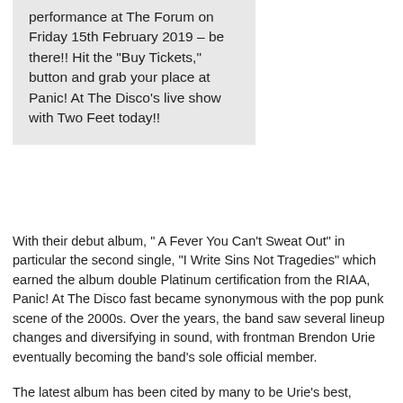performance at The Forum on Friday 15th February 2019 – be there!! Hit the "Buy Tickets," button and grab your place at Panic! At The Disco's live show with Two Feet today!!
With their debut album, " A Fever You Can't Sweat Out" in particular the second single, "I Write Sins Not Tragedies" which earned the album double Platinum certification from the RIAA, Panic! At The Disco fast became synonymous with the pop punk scene of the 2000s. Over the years, the band saw several lineup changes and diversifying in sound, with frontman Brendon Urie eventually becoming the band's sole official member.
The latest album has been cited by many to be Urie's best,